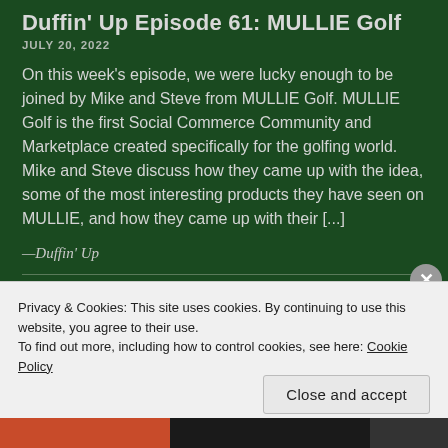Duffin' Up Episode 61: MULLIE Golf
JULY 20, 2022
On this week's episode, we were lucky enough to be joined by Mike and Steve from MULLIE Golf. MULLIE Golf is the first Social Commerce Community and Marketplace created specifically for the golfing world. Mike and Steve discuss how they came up with the idea, some of the most interesting products they have seen on MULLIE, and how they came up with their [...]
—Duffin' Up
Duffin' Up Episode 60: Open Championship Preview
Privacy & Cookies: This site uses cookies. By continuing to use this website, you agree to their use.
To find out more, including how to control cookies, see here: Cookie Policy
Close and accept